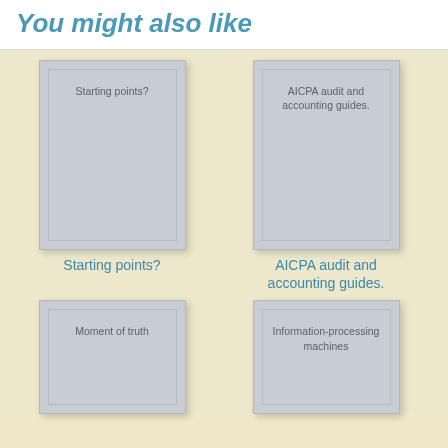You might also like
[Figure (illustration): Book cover placeholder for 'Starting points?']
Starting points?
[Figure (illustration): Book cover placeholder for 'AICPA audit and accounting guides.']
AICPA audit and accounting guides.
[Figure (illustration): Book cover placeholder for 'Moment of truth']
[Figure (illustration): Book cover placeholder for 'Information-processing machines']